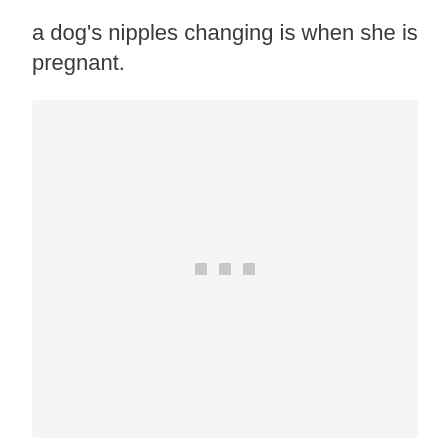a dog's nipples changing is when she is pregnant.
[Figure (photo): Image loading placeholder with three small gray dots centered on a light gray background]